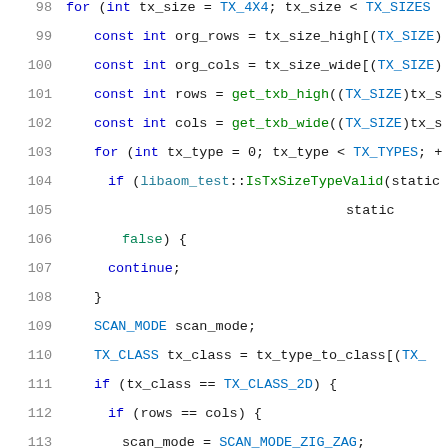[Figure (screenshot): Source code listing in C++ with line numbers 98-119, showing a nested loop with conditional logic for scan mode assignment based on tx_class and row/column dimensions.]